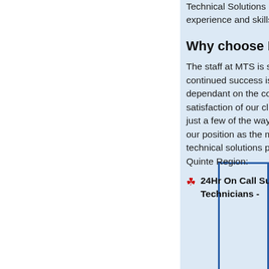Technical Solutions uses its experience and skills for your benefit.
Why choose MTS?
The staff at MTS is service driven. Our continued success is heavily dependant on the complete satisfaction of our clients. These are just a few of the ways that we maintain our position as the most trusted technical solutions provider in the Quinte Region:
24Hr On Call Support Technicians -